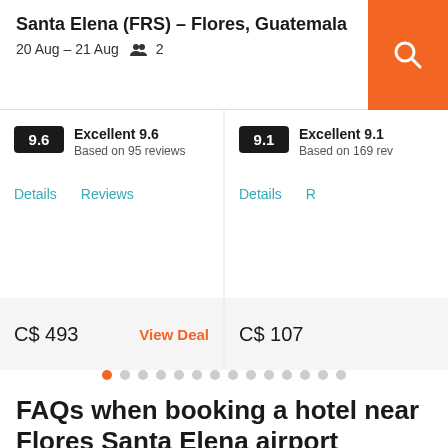Santa Elena (FRS) – Flores, Guatemala
20 Aug – 21 Aug  2
Excellent 9.6
Based on 95 reviews
Details  Reviews
C$ 493  View Deal
Excellent 9.1
Based on 169 rev
Details  R
C$ 107
• • • • • • • • • • • • • •
FAQs when booking a hotel near Flores Santa Elena airport
How much is a cheap hotel near Flores Santa Elena airport?